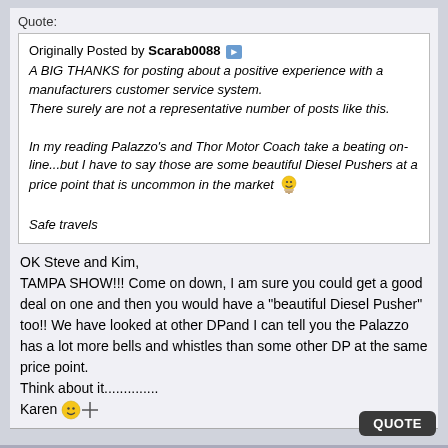Quote:
Originally Posted by Scarab0088
A BIG THANKS for posting about a positive experience with a manufacturers customer service system.
There surely are not a representative number of posts like this.

In my reading Palazzo's and Thor Motor Coach take a beating on-line...but I have to say those are some beautiful Diesel Pushers at a price point that is uncommon in the market

Safe travels
OK Steve and Kim,
TAMPA SHOW!!! Come on down, I am sure you could get a good deal on one and then you would have a "beautiful Diesel Pusher" too!! We have looked at other DPand I can tell you the Palazzo has a lot more bells and whistles than some other DP at the same price point.
Think about it..............
Karen